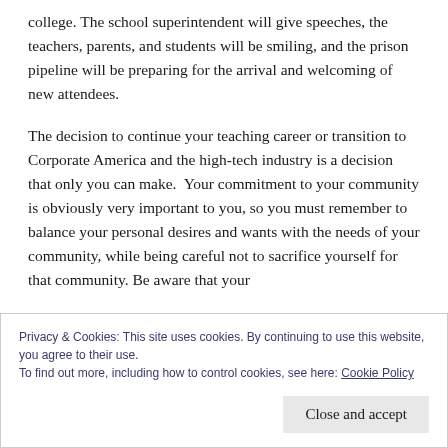college. The school superintendent will give speeches, the teachers, parents, and students will be smiling, and the prison pipeline will be preparing for the arrival and welcoming of new attendees.
The decision to continue your teaching career or transition to Corporate America and the high-tech industry is a decision that only you can make.  Your commitment to your community is obviously very important to you, so you must remember to balance your personal desires and wants with the needs of your community, while being careful not to sacrifice yourself for that community. Be aware that your
Privacy & Cookies: This site uses cookies. By continuing to use this website, you agree to their use.
To find out more, including how to control cookies, see here: Cookie Policy
Close and accept